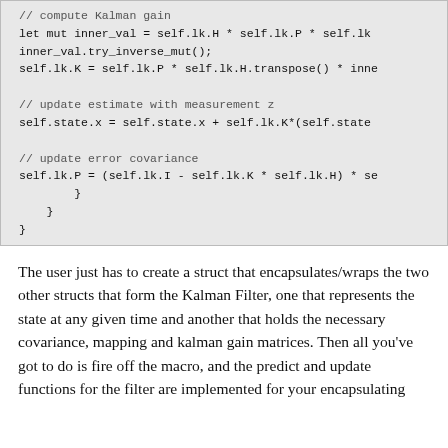[Figure (other): Code block showing Kalman filter Rust implementation: compute Kalman gain, update estimate with measurement z, update error covariance, and closing braces.]
The user just has to create a struct that encapsulates/wraps the two other structs that form the Kalman Filter, one that represents the state at any given time and another that holds the necessary covariance, mapping and kalman gain matrices. Then all you've got to do is fire off the macro, and the predict and update functions for the filter are implemented for your encapsulating